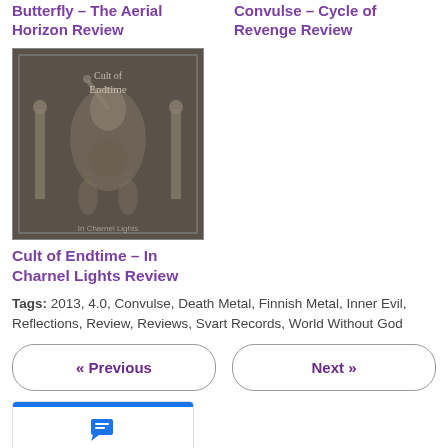Butterfly – The Aerial Horizon Review
Convulse – Cycle of Revenge Review
[Figure (photo): Album cover for Cult of Endtime – In Charnel Lights. Dark brownish-grey background with illustrated robed figures and text 'Cult of Endtime' at top and 'In Charnel Lights' at bottom.]
Cult of Endtime – In Charnel Lights Review
Tags: 2013, 4.0, Convulse, Death Metal, Finnish Metal, Inner Evil, Reflections, Review, Reviews, Svart Records, World Without God
« Previous
Next »
Comments